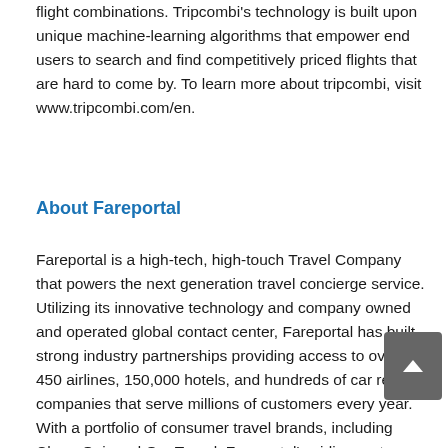flight combinations. Tripcombi's technology is built upon unique machine-learning algorithms that empower end users to search and find competitively priced flights that are hard to come by. To learn more about tripcombi, visit www.tripcombi.com/en.
About Fareportal
Fareportal is a high-tech, high-touch Travel Company that powers the next generation travel concierge service. Utilizing its innovative technology and company owned and operated global contact center, Fareportal has built strong industry partnerships providing access to over 450 airlines, 150,000 hotels, and hundreds of car rental companies that serve millions of customers every year. With a portfolio of consumer travel brands, including CheapOair and OneTravel, Fareportal's airline partners can benefit